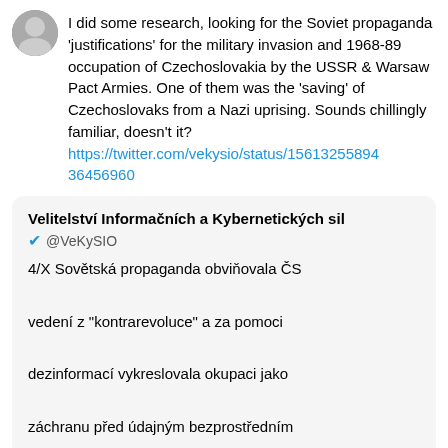[Figure (photo): User avatar photo - small circular profile picture of a person]
I did some research, looking for the Soviet propaganda 'justifications' for the military invasion and 1968-89 occupation of Czechoslovakia by the USSR & Warsaw Pact Armies. One of them was the 'saving' of Czechoslovaks from a Nazi uprising. Sounds chillingly familiar, doesn't it? https://twitter.com/vekysio/status/1561325589436456960
Velitelství Informačních a Kybernetických sil @VeKySIO 4/X Sovětská propaganda obviňovala ČS vedení z "kontrarevoluce" a za pomoci dezinformací vykreslovala okupaci jako záchranu před údajným bezprostředním "ozbrojeným nacistickým povstáním" živeným ze Západu, které má vyprovokovat "bratrovražedný boj" v socialistickém táboře.